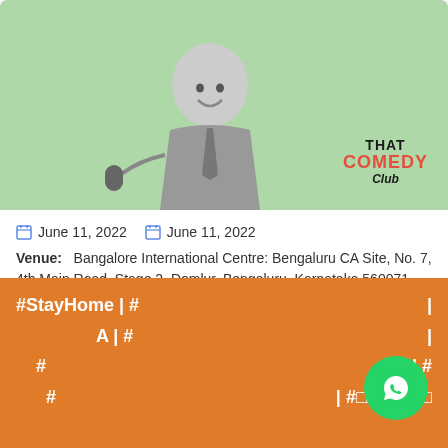[Figure (photo): Comedy event promotional image with comedian holding microphone on mint green background, with 'That Comedy Club' logo in bottom right]
June 11, 2022   June 11, 2022
Venue:   Bangalore International Centre: Bengaluru CA Site, No. 7, 4th Main Road, Stage 2, Domlur, Bengaluru, Karnataka 560071, India
View Details
Comedy All-Stars: Anirban Dasgupta Live | Delhi-NCR
Past Event
#StayHome | #
A | #
# | #
# | #□□□□□□□